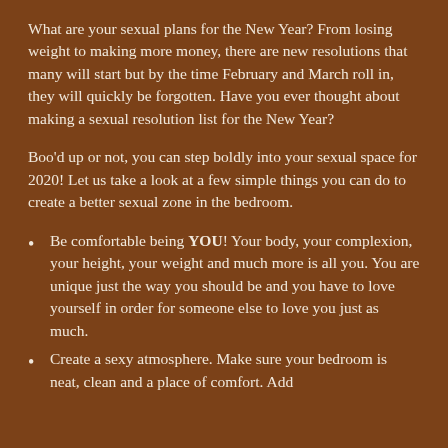What are your sexual plans for the New Year? From losing weight to making more money, there are new resolutions that many will start but by the time February and March roll in, they will quickly be forgotten. Have you ever thought about making a sexual resolution list for the New Year?
Boo'd up or not, you can step boldly into your sexual space for 2020! Let us take a look at a few simple things you can do to create a better sexual zone in the bedroom.
Be comfortable being YOU! Your body, your complexion, your height, your weight and much more is all you. You are unique just the way you should be and you have to love yourself in order for someone else to love you just as much.
Create a sexy atmosphere. Make sure your bedroom is neat, clean and a place of comfort. Add